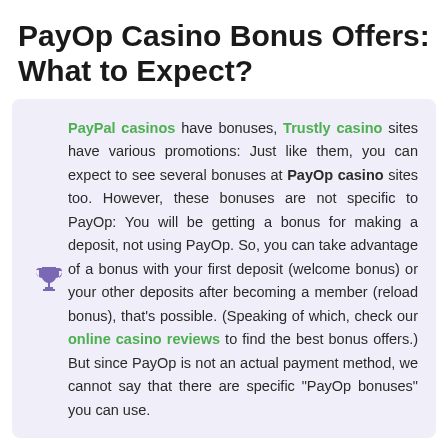PayOp Casino Bonus Offers: What to Expect?
PayPal casinos have bonuses, Trustly casino sites have various promotions: Just like them, you can expect to see several bonuses at PayOp casino sites too. However, these bonuses are not specific to PayOp: You will be getting a bonus for making a deposit, not using PayOp. So, you can take advantage of a bonus with your first deposit (welcome bonus) or your other deposits after becoming a member (reload bonus), that’s possible. (Speaking of which, check our online casino reviews to find the best bonus offers.) But since PayOp is not an actual payment method, we cannot say that there are specific “PayOp bonuses” you can use.